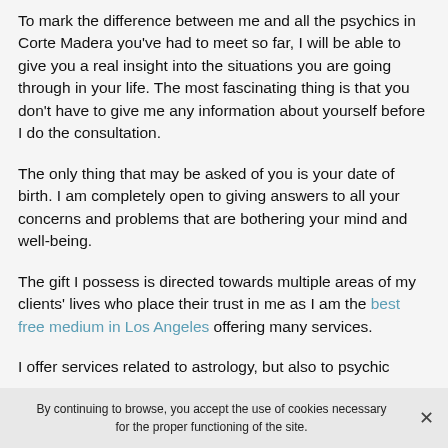To mark the difference between me and all the psychics in Corte Madera you've had to meet so far, I will be able to give you a real insight into the situations you are going through in your life. The most fascinating thing is that you don't have to give me any information about yourself before I do the consultation.
The only thing that may be asked of you is your date of birth. I am completely open to giving answers to all your concerns and problems that are bothering your mind and well-being.
The gift I possess is directed towards multiple areas of my clients' lives who place their trust in me as I am the best free medium in Los Angeles offering many services.
I offer services related to astrology, but also to psychic
By continuing to browse, you accept the use of cookies necessary for the proper functioning of the site.